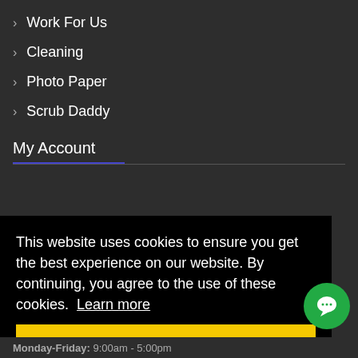> Work For Us
> Cleaning
> Photo Paper
> Scrub Daddy
My Account
This website uses cookies to ensure you get the best experience on our website. By continuing, you agree to the use of these cookies. Learn more
Got it!
Monday-Friday: 9:00am - 5:00pm